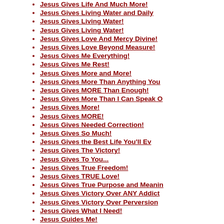Jesus Gives Life And Much More!
Jesus Gives Living Water and Daily
Jesus Gives Living Water!
Jesus Gives Living Water!
Jesus Gives Love And Mercy Divine!
Jesus Gives Love Beyond Measure!
Jesus Gives Me Everything!
Jesus Gives Me Rest!
Jesus Gives More and More!
Jesus Gives More Than Anything You
Jesus Gives MORE Than Enough!
Jesus Gives More Than I Can Speak O
Jesus Gives More!
Jesus Gives MORE!
Jesus Gives Needed Correction!
Jesus Gives So Much!
Jesus Gives the Best Life You'll Ev
Jesus Gives The Victory!
Jesus Gives To You...
Jesus Gives True Freedom!
Jesus Gives TRUE Love!
Jesus Gives True Purpose and Meanin
Jesus Gives Victory Over ANY Addict
Jesus Gives Victory Over Perversion
Jesus Gives What I Need!
Jesus Guides Me!
Jesus Has A Great Loe For YOU!
Jesus Has Been So Faithful to Us!
Jesus Has Blessed Me!
Jesus Has Come!!!
Jesus Has Come That I May Know Hi